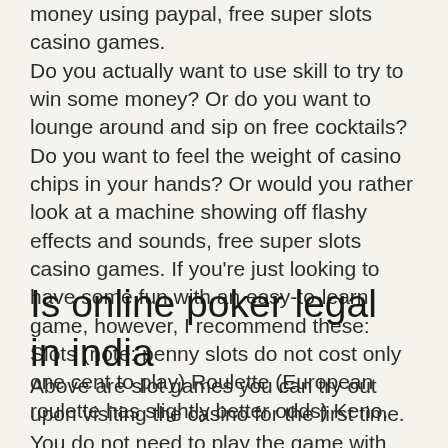money using paypal, free super slots casino games. Do you actually want to use skill to try to win some money? Or do you want to lounge around and sip on free cocktails? Do you want to feel the weight of casino chips in your hands? Or would you rather look at a machine showing off flashy effects and sounds, free super slots casino games. If you're just looking to have some fun with an easy-to-learn game, however, I recommend these: Slots (note: penny slots do not cost only one cent to play) Roulette (European roulette has slightly better odds) Keno.
Is online poker legal in india
Above are slot games you can try out upon visiting the casino for the first time. You do not need to play the game with real money since there is a free version. Play online